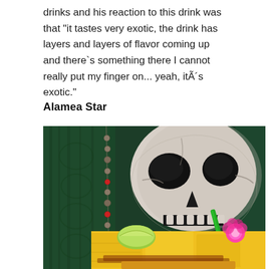drinks and his reaction to this drink was that "it tastes very exotic, the drink has layers and layers of flavor coming up and there`s something there I cannot really put my finger on... yeah, itÃ´s exotic."
Alamea Star
[Figure (photo): A dramatic cocktail photograph featuring a skull mask/decoration in black and white in the background against a dark green textured backdrop with red bead necklace, and in the foreground a yellow/golden drink garnished with lime wedges, chili powder, and a pink flower, with a green straw.]